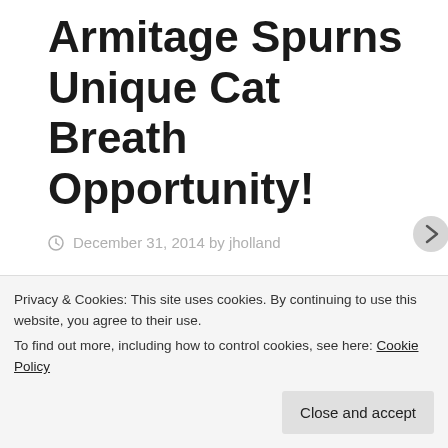Armitage Spurns Unique Cat Breath Opportunity!
December 31, 2014 by jholland
I haven't had a memorable Armitage Dream since late October! Somewhat of a long draught, but last night I had the pleasure of
Privacy & Cookies: This site uses cookies. By continuing to use this website, you agree to their use.
To find out more, including how to control cookies, see here: Cookie Policy
Close and accept